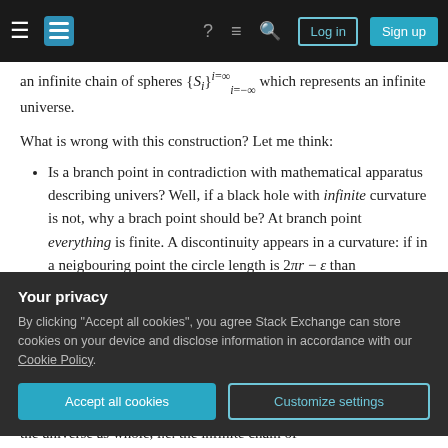Stack Exchange navigation bar with hamburger, logo, help, chat, search icons, Log in and Sign up buttons
an infinite chain of spheres {S_i}^{i=∞}_{i=-∞} which represents an infinite universe.
What is wrong with this construction? Let me think:
Is a branch point in contradiction with mathematical apparatus describing univers? Well, if a black hole with infinite curvature is not, why a brach point should be? At branch point everything is finite. A discontinuity appears in a curvature: if in a neigbouring point the circle length is 2πr − ε than
Your privacy
By clicking "Accept all cookies", you agree Stack Exchange can store cookies on your device and disclose information in accordance with our Cookie Policy.
the universe as whole, i.e. the infinite chain of